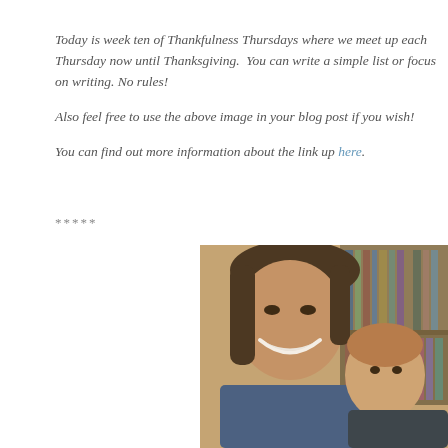Today is week ten of Thankfulness Thursdays where we meet up each Thursday now until Thanksgiving. You can write a simple list or focus on writing. No rules! Also feel free to use the above image in your blog post if you wish! You can find out more information about the link up here.
*****
[Figure (photo): A smiling woman with dark hair taking a selfie with a young toddler with reddish-blonde hair. Bookshelves are visible in the background. The photo has a warm, slightly faded filter.]